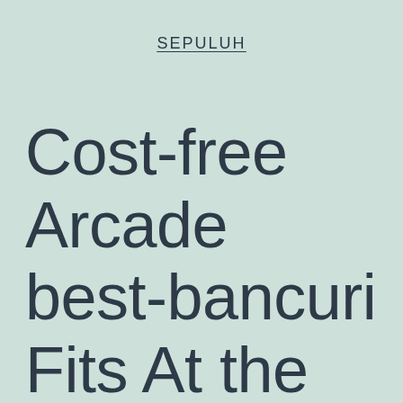SEPULUH
Cost-free Arcade best-bancuri Fits At the Play 123